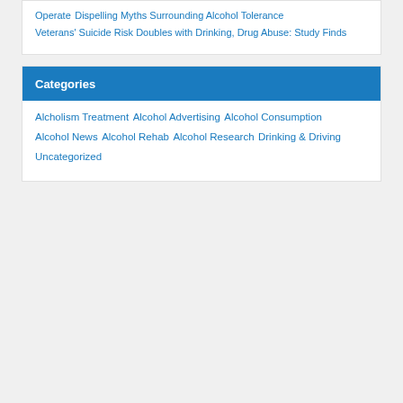Operate
Dispelling Myths Surrounding Alcohol Tolerance
Veterans' Suicide Risk Doubles with Drinking, Drug Abuse: Study Finds
Categories
Alcholism Treatment
Alcohol Advertising
Alcohol Consumption
Alcohol News
Alcohol Rehab
Alcohol Research
Drinking & Driving
Uncategorized